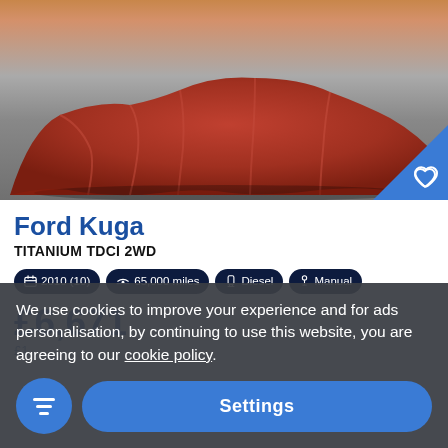[Figure (photo): Car covered with a red/orange fabric draped sheet, photographed from front-right angle on a grey floor with warm sunset-like background]
Ford Kuga
TITANIUM TDCI 2WD
2010 (10) | 65,000 miles | Diesel | Manual
£6,671
We use cookies to improve your experience and for ads personalisation, by continuing to use this website, you are agreeing to our cookie policy.
Settings